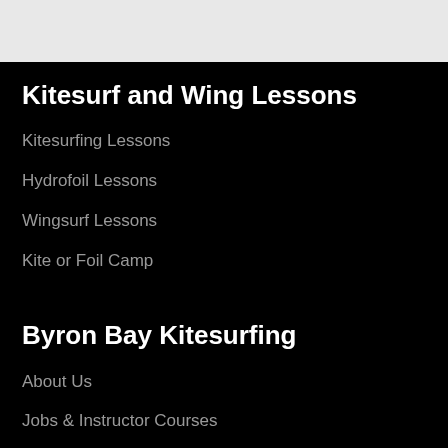Kitesurf and Wing Lessons
Kitesurfing Lessons
Hydrofoil Lessons
Wingsurf Lessons
Kite or Foil Camp
Byron Bay Kitesurfing
About Us
Jobs & Instructor Courses
Byron Bay Kitesurfing Spots
FAQ